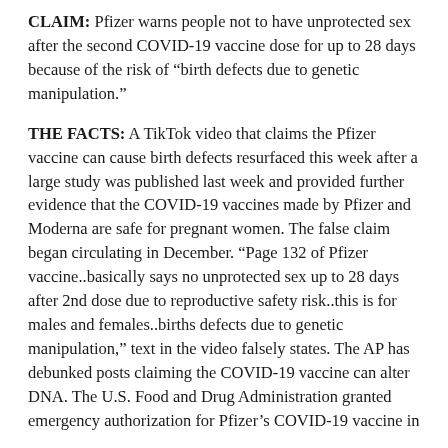CLAIM: Pfizer warns people not to have unprotected sex after the second COVID-19 vaccine dose for up to 28 days because of the risk of "birth defects due to genetic manipulation."
THE FACTS: A TikTok video that claims the Pfizer vaccine can cause birth defects resurfaced this week after a large study was published last week and provided further evidence that the COVID-19 vaccines made by Pfizer and Moderna are safe for pregnant women. The false claim began circulating in December. "Page 132 of Pfizer vaccine..basically says no unprotected sex up to 28 days after 2nd dose due to reproductive safety risk..this is for males and females..births defects due to genetic manipulation," text in the video falsely states. The AP has debunked posts claiming the COVID-19 vaccine can alter DNA. The U.S. Food and Drug Administration granted emergency authorization for Pfizer's COVID-19 vaccine in